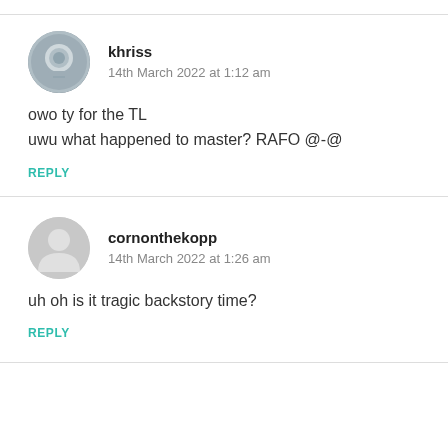khriss
14th March 2022 at 1:12 am

owo ty for the TL
uwu what happened to master? RAFO @-@

REPLY
cornonthekopp
14th March 2022 at 1:26 am

uh oh is it tragic backstory time?

REPLY